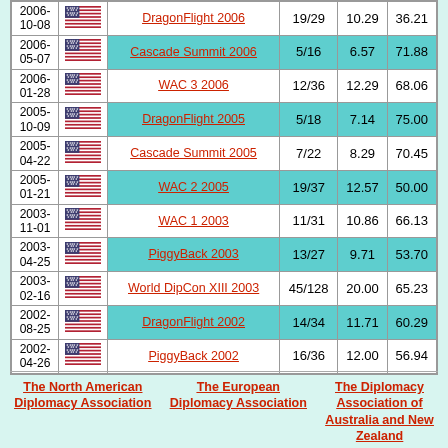| Date | Flag | Event | Place | Score | Pct |
| --- | --- | --- | --- | --- | --- |
| 2006-10-08 |  | DragonFlight 2006 | 19/29 | 10.29 | 36.21 |
| 2006-05-07 |  | Cascade Summit 2006 | 5/16 | 6.57 | 71.88 |
| 2006-01-28 |  | WAC 3 2006 | 12/36 | 12.29 | 68.06 |
| 2005-10-09 |  | DragonFlight 2005 | 5/18 | 7.14 | 75.00 |
| 2005-04-22 |  | Cascade Summit 2005 | 7/22 | 8.29 | 70.45 |
| 2005-01-21 |  | WAC 2 2005 | 19/37 | 12.57 | 50.00 |
| 2003-11-01 |  | WAC 1 2003 | 11/31 | 10.86 | 66.13 |
| 2003-04-25 |  | PiggyBack 2003 | 13/27 | 9.71 | 53.70 |
| 2003-02-16 |  | World DipCon XIII 2003 | 45/128 | 20.00 | 65.23 |
| 2002-08-25 |  | DragonFlight 2002 | 14/34 | 11.71 | 60.29 |
| 2002-04-26 |  | PiggyBack 2002 | 16/36 | 12.00 | 56.94 |
The North American Diplomacy Association
The European Diplomacy Association
The Diplomacy Association of Australia and New Zealand